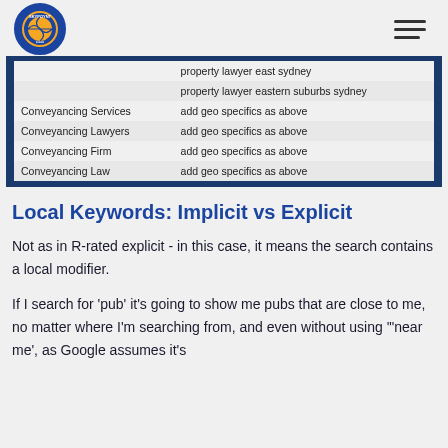SKYPOYNT
|  | property lawyer east sydney |
|  | property lawyer eastern suburbs sydney |
| Conveyancing Services | add geo specifics as above |
| Conveyancing Lawyers | add geo specifics as above |
| Conveyancing Firm | add geo specifics as above |
| Conveyancing Law | add geo specifics as above |
Local Keywords: Implicit vs Explicit
Not as in R-rated explicit - in this case, it means the search contains a local modifier.
If I search for ‘pub’ it’s going to show me pubs that are close to me, no matter where I’m searching from, and even without using ‘‘near me’, as Google assumes it’s